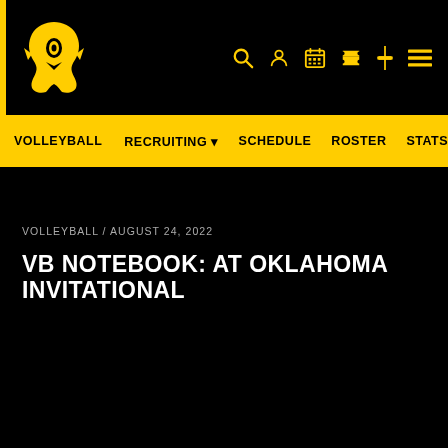[Figure (logo): University of Iowa Hawkeye tigerhawk logo in gold on black background, with yellow vertical stripe on left]
VOLLEYBALL   RECRUITING ▼   SCHEDULE   ROSTER   STATS
VOLLEYBALL / AUGUST 24, 2022
VB NOTEBOOK: AT OKLAHOMA INVITATIONAL